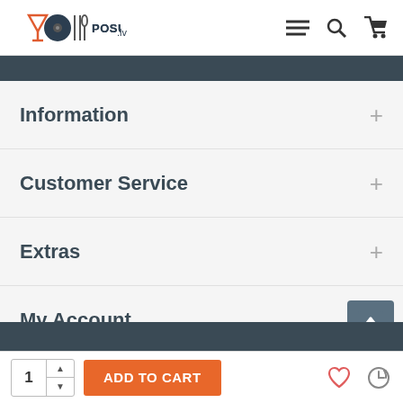POSUDA.lv — header with logo and navigation icons (menu, search, cart)
Information +
Customer Service +
Extras +
My Account +
ADD TO CART — quantity: 1, with wishlist and return icons